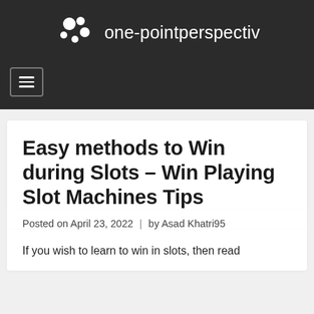one-pointperspectiv
Easy methods to Win during Slots – Win Playing Slot Machines Tips
Posted on April 23, 2022 | by Asad Khatri95
If you wish to learn to win in slots, then read